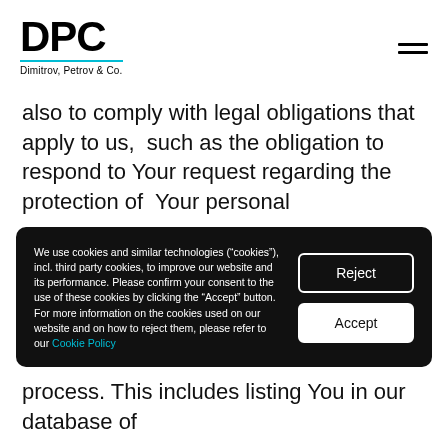DPC — Dimitrov, Petrov & Co.
also to comply with legal obligations that apply to us,  such as the obligation to respond to Your request regarding the protection of  Your personal
We use cookies and similar technologies (“cookies”), incl. third party cookies, to improve our website and its performance. Please confirm your consent to the use of these cookies by clicking the “Accept” button. For more information on the cookies used on our website and on how to reject them, please refer to our Cookie Policy
process. This includes listing You in our database of